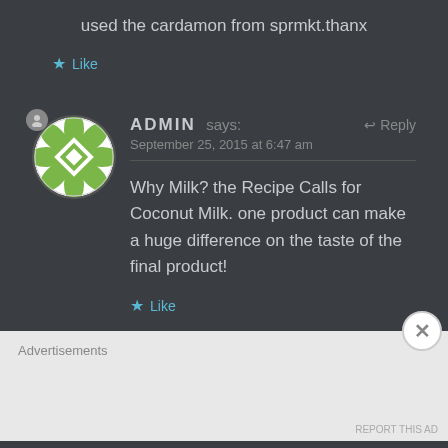used the cardamon from sprmkt.thanx
★ Like
ADMIN says:  ↩ Reply
September 25, 2015 at 6:47 am
Why Milk? the Recipe Calls for Coconut Milk. one product can make a huge difference on the taste of the final product!
★ Like
Advertisements